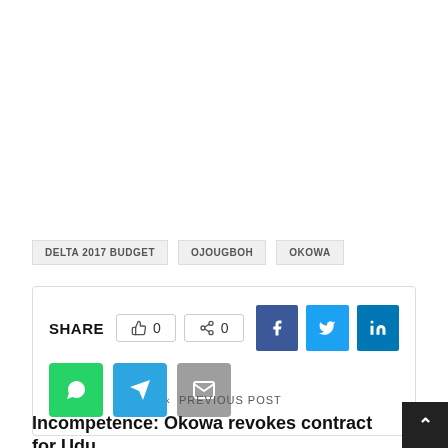DELTA 2017 BUDGET  OJOUGBOH  OKOWA
SHARE  0  0
< PREVIOUS POST
Incompetence: Okowa revokes contract for Udu